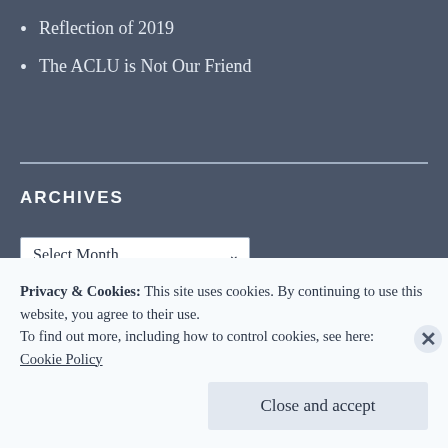Reflection of 2019
The ACLU is Not Our Friend
ARCHIVES
Select Month
Privacy & Cookies: This site uses cookies. By continuing to use this website, you agree to their use.
To find out more, including how to control cookies, see here:
Cookie Policy
Close and accept